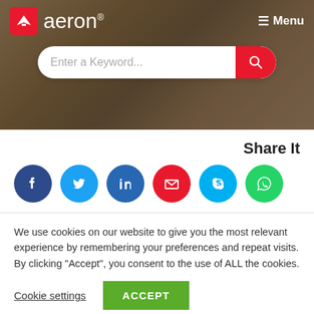[Figure (screenshot): Aeron website hero header with logo, menu button, and search bar over a sandy/desert background photo]
Share It
[Figure (infographic): Row of 6 circular social media share buttons: Facebook (dark blue), Twitter (light blue), LinkedIn (blue), Email (red), Skype (cyan), WhatsApp (green)]
We use cookies on our website to give you the most relevant experience by remembering your preferences and repeat visits. By clicking "Accept", you consent to the use of ALL the cookies.
Cookie settings   ACCEPT